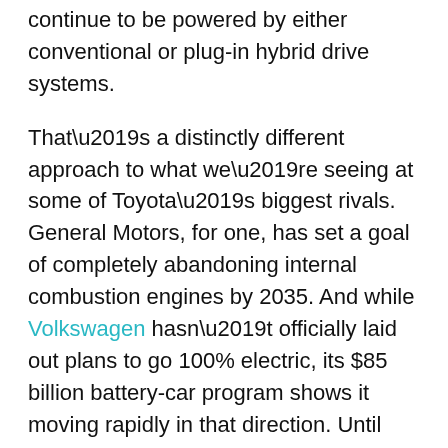continue to be powered by either conventional or plug-in hybrid drive systems.
That’s a distinctly different approach to what we’re seeing at some of Toyota’s biggest rivals. General Motors, for one, has set a goal of completely abandoning internal combustion engines by 2035. And while Volkswagen hasn’t officially laid out plans to go 100% electric, its $85 billion battery-car program shows it moving rapidly in that direction. Until recently, Ford echoed the mixed drivetrain approach, but it’s rapidly shifting investment dollars from